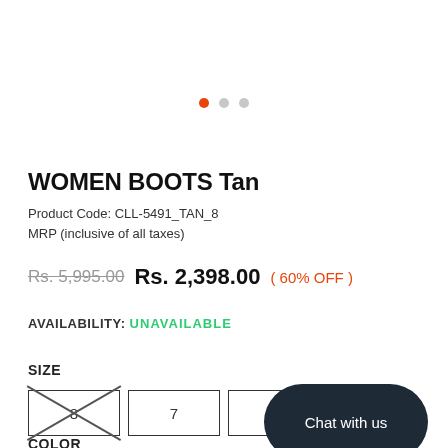[Figure (other): Carousel dots navigation — one filled orange dot and two empty gray dots]
WOMEN BOOTS Tan
Product Code: CLL-5491_TAN_8
MRP (inclusive of all taxes)
Rs. 5,995.00  Rs. 2,398.00  (60% OFF)
AVAILABILITY: UNAVAILABLE
SIZE
8  7  6
Chat with us
COLOR